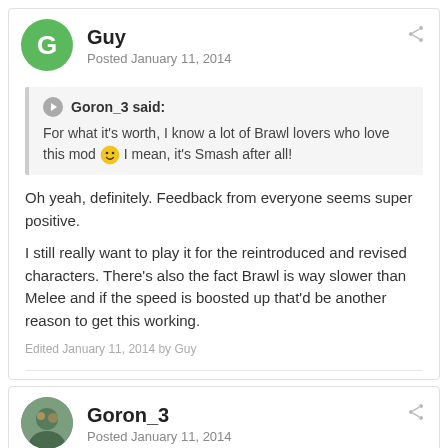Guy
Posted January 11, 2014
Goron_3 said:
For what it's worth, I know a lot of Brawl lovers who love this mod 🙂 I mean, it's Smash after all!
Oh yeah, definitely. Feedback from everyone seems super positive.
I still really want to play it for the reintroduced and revised characters. There's also the fact Brawl is way slower than Melee and if the speed is boosted up that'd be another reason to get this working.
Edited January 11, 2014 by Guy
Goron_3
Posted January 11, 2014